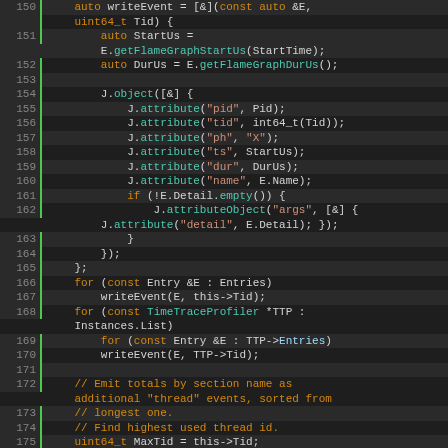[Figure (screenshot): Source code listing in a dark-themed code editor showing C++ code for writing trace events, lines 150-178. Syntax highlighted with orange keywords, teal function names, red-orange strings, and gray line numbers on a dark background.]